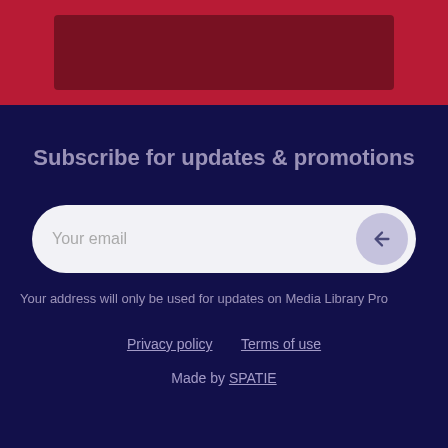[Figure (photo): Dark red/crimson banner at the top containing a dark image placeholder or screenshot]
Subscribe for updates & promotions
Your email
Your address will only be used for updates on Media Library Pro
Privacy policy   Terms of use
Made by SPATIE